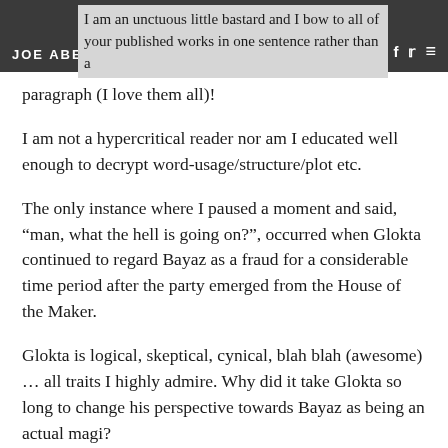JOE ABERCROMBIE | I am an unctuous little bastard and I bow to all of your published works in one sentence rather than a paragraph (I love them all)!
I am not a hypercritical reader nor am I educated well enough to decrypt word-usage/structure/plot etc.
The only instance where I paused a moment and said, “man, what the hell is going on?”, occurred when Glokta continued to regard Bayaz as a fraud for a considerable time period after the party emerged from the House of the Maker.
Glokta is logical, skeptical, cynical, blah blah (awesome) … all traits I highly admire. Why did it take Glokta so long to change his perspective towards Bayaz as being an actual magi?